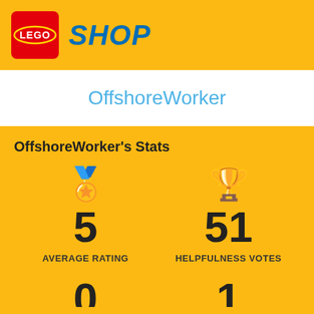LEGO SHOP
OffshoreWorker
OffshoreWorker's Stats
5 AVERAGE RATING
51 HELPFULNESS VOTES
0
1